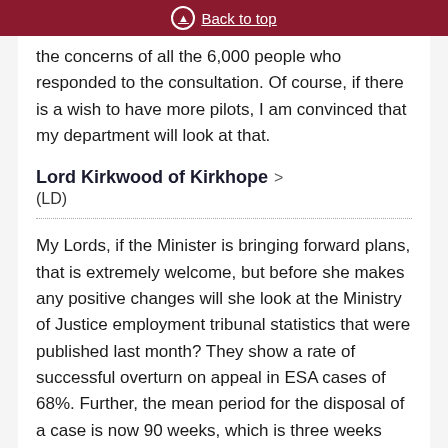Back to top
the concerns of all the 6,000 people who responded to the consultation. Of course, if there is a wish to have more pilots, I am convinced that my department will look at that.
Lord Kirkwood of Kirkhope (LD)
My Lords, if the Minister is bringing forward plans, that is extremely welcome, but before she makes any positive changes will she look at the Ministry of Justice employment tribunal statistics that were published last month? They show a rate of successful overturn on appeal in ESA cases of 68%. Further, the mean period for the disposal of a case is now 90 weeks, which is three weeks longer than last